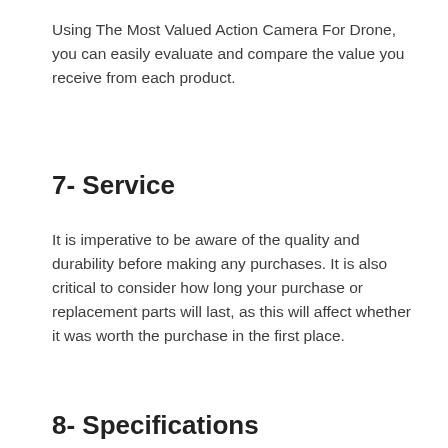Using The Most Valued Action Camera For Drone, you can easily evaluate and compare the value you receive from each product.
7- Service
It is imperative to be aware of the quality and durability before making any purchases. It is also critical to consider how long your purchase or replacement parts will last, as this will affect whether it was worth the purchase in the first place.
8- Specifications